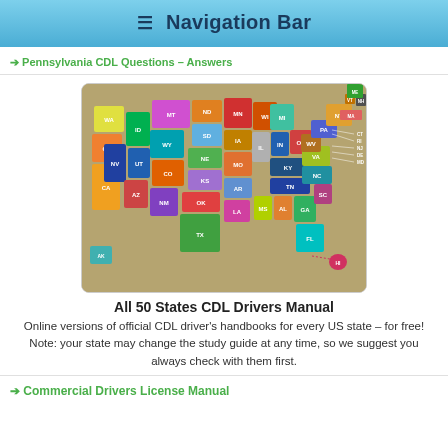Navigation Bar
Pennsylvania CDL Questions – Answers
[Figure (map): Colorful map of all 50 US states, each state labeled with its abbreviation and filled with a distinct bright color on a tan/brown background.]
All 50 States CDL Drivers Manual
Online versions of official CDL driver's handbooks for every US state – for free! Note: your state may change the study guide at any time, so we suggest you always check with them first.
Commercial Drivers License Manual